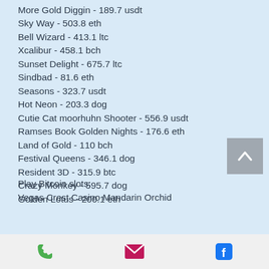More Gold Diggin - 189.7 usdt
Sky Way - 503.8 eth
Bell Wizard - 413.1 ltc
Xcalibur - 458.1 bch
Sunset Delight - 675.7 ltc
Sindbad - 81.6 eth
Seasons - 323.7 usdt
Hot Neon - 203.3 dog
Cutie Cat moorhuhn Shooter - 556.9 usdt
Ramses Book Golden Nights - 176.6 eth
Land of Gold - 110 bch
Festival Queens - 346.1 dog
Resident 3D - 315.9 btc
Crazy Monkey - 595.7 dog
Golden Lotus - 200.1 eth
Play Bitcoin slots:
Vegas Crest Casino Mandarin Orchid
[Figure (infographic): Footer bar with phone, email, and Facebook icons]